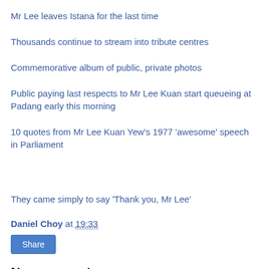Mr Lee leaves Istana for the last time
Thousands continue to stream into tribute centres
Commemorative album of public, private photos
Public paying last respects to Mr Lee Kuan start queueing at Padang early this morning
10 quotes from Mr Lee Kuan Yew's 1977 'awesome' speech in Parliament
They came simply to say 'Thank you, Mr Lee'
Daniel Choy at 19:33
Share
No comments: